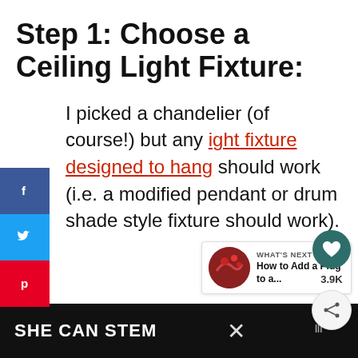Step 1: Choose a Ceiling Light Fixture:
I picked a chandelier (of course!) but any light fixture designed to hang should work (i.e. a modified pendant or drum shade style fixture should work).
[Figure (infographic): Social media share sidebar with Facebook (blue), Twitter (blue), Pinterest (red) buttons on left; heart/like button showing 3.9K count and share button on right]
[Figure (infographic): What's Next panel showing a thumbnail and text: WHAT'S NEXT → How to Add a Plug to a...]
SHE CAN STEM